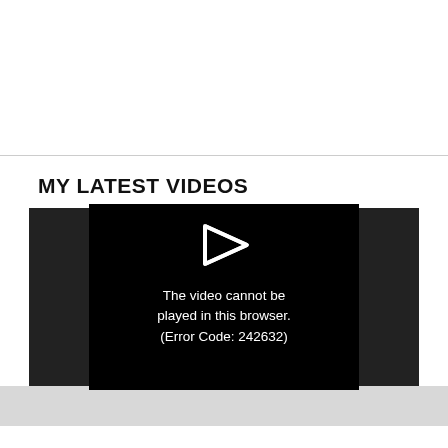MY LATEST VIDEOS
[Figure (screenshot): Video player showing error message: 'The video cannot be played in this browser. (Error Code: 242632)' with a play button icon on a black background inside a dark gray container.]